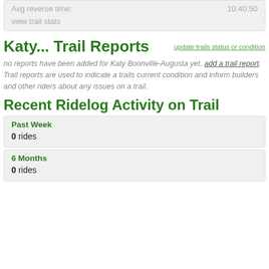Avg reverse time: 10:40:50
view trail stats
Katy... Trail Reports
update trails status or condition
no reports have been added for Katy Boonville-Augusta yet, add a trail report. Trail reports are used to indicate a trails current condition and inform builders and other riders about any issues on a trail.
Recent Ridelog Activity on Trail
Past Week
0 rides
6 Months
0 rides